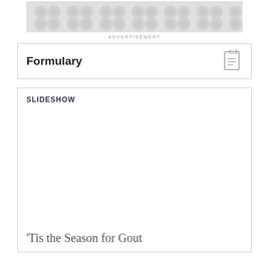[Figure (other): Advertisement banner with repeating circular pattern in light grey on grey background]
ADVERTISEMENT
Formulary
SLIDESHOW
[Figure (photo): Empty slideshow image area]
'Tis the Season for Gout